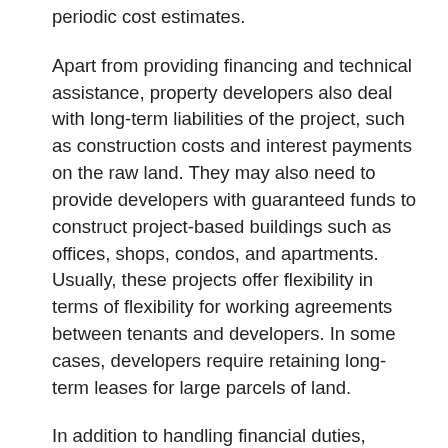periodic cost estimates.
Apart from providing financing and technical assistance, property developers also deal with long-term liabilities of the project, such as construction costs and interest payments on the raw land. They may also need to provide developers with guaranteed funds to construct project-based buildings such as offices, shops, condos, and apartments. Usually, these projects offer flexibility in terms of flexibility for working agreements between tenants and developers. In some cases, developers require retaining long-term leases for large parcels of land.
In addition to handling financial duties, property developers must provide a strategic and creative vision for future developments. They must clearly understand customer needs, preferences, and business objectives. They must have sound knowledge and understanding of technology, manufacturing techniques, and methods. In